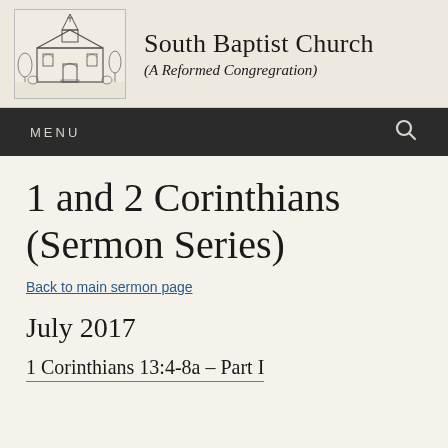[Figure (illustration): Black and white sketch/illustration of a church building with steeple and trees]
South Baptist Church (A Reformed Congregration)
MENU
1 and 2 Corinthians (Sermon Series)
Back to main sermon page
July 2017
1 Corinthians 13:4-8a – Part I